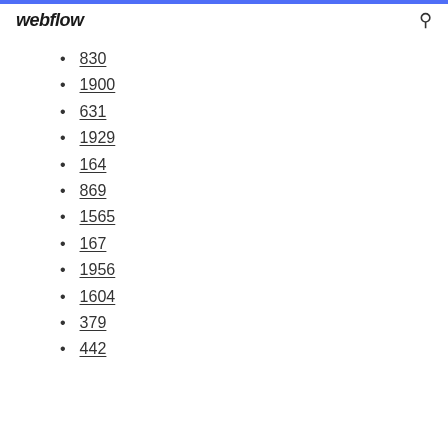webflow
830
1900
631
1929
164
869
1565
167
1956
1604
379
442